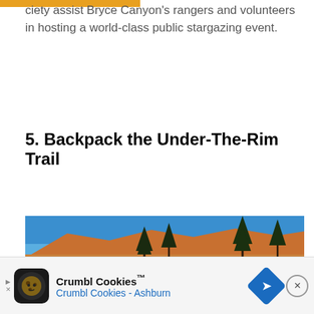ciety assist Bryce Canyon's rangers and volunteers in hosting a world-class public stargazing event.
5. Backpack the Under-The-Rim Trail
[Figure (photo): Panoramic photo of Bryce Canyon's Under-The-Rim Trail showing orange/red rock formations, pine trees, blue sky, and a sandy trail path.]
Crumbl Cookies™ Crumbl Cookies - Ashburn